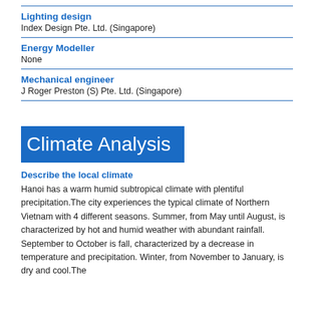Lighting design
Index Design Pte. Ltd. (Singapore)
Energy Modeller
None
Mechanical engineer
J Roger Preston (S) Pte. Ltd. (Singapore)
Climate Analysis
Describe the local climate
Hanoi has a warm humid subtropical climate with plentiful precipitation.The city experiences the typical climate of Northern Vietnam with 4 different seasons. Summer, from May until August, is characterized by hot and humid weather with abundant rainfall. September to October is fall, characterized by a decrease in temperature and precipitation. Winter, from November to January, is dry and cool.The